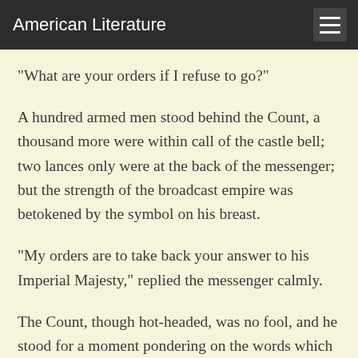American Literature
"What are your orders if I refuse to go?"
A hundred armed men stood behind the Count, a thousand more were within call of the castle bell; two lances only were at the back of the messenger; but the strength of the broadcast empire was betokened by the symbol on his breast.
"My orders are to take back your answer to his Imperial Majesty," replied the messenger calmly.
The Count, though hot-headed, was no fool, and he stood for a moment pondering on the words which the Knight of Ehrenburg had spoken on taking his leave.